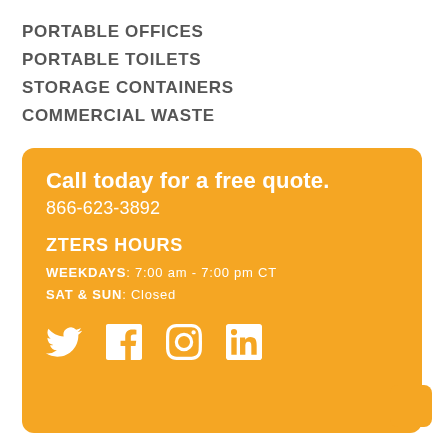PORTABLE OFFICES
PORTABLE TOILETS
STORAGE CONTAINERS
COMMERCIAL WASTE
Call today for a free quote.
866-623-3892
ZTERS HOURS
WEEKDAYS: 7:00 am - 7:00 pm CT
SAT & SUN: Closed
[Figure (illustration): Social media icons: Twitter, Facebook, Instagram, LinkedIn]